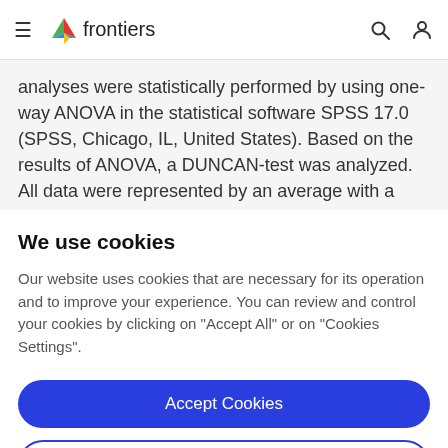frontiers
analyses were statistically performed by using one-way ANOVA in the statistical software SPSS 17.0 (SPSS, Chicago, IL, United States). Based on the results of ANOVA, a DUNCAN-test was analyzed. All data were represented by an average with a standard error of three
We use cookies
Our website uses cookies that are necessary for its operation and to improve your experience. You can review and control your cookies by clicking on "Accept All" or on "Cookies Settings".
Accept Cookies
Cookies Settings